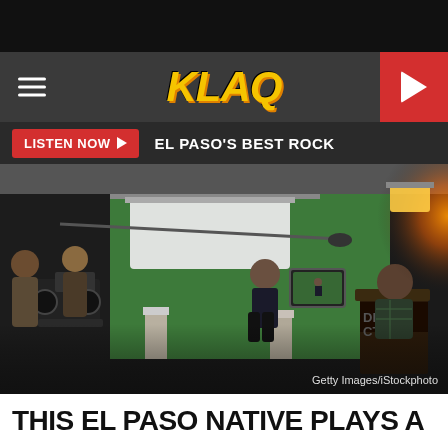KLAQ - EL PASO'S BEST ROCK
[Figure (photo): Film production set with crew filming an actor in front of a green screen, a director sitting in a chair labeled DIRECTOR, professional camera equipment visible, and bright studio lighting.]
Getty Images/iStockphoto
THIS EL PASO NATIVE PLAYS A